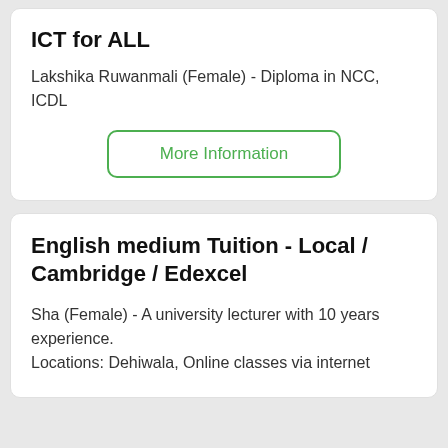ICT for ALL
Lakshika Ruwanmali (Female) - Diploma in NCC, ICDL
More Information
English medium Tuition - Local / Cambridge / Edexcel
Sha (Female) - A university lecturer with 10 years experience.
Locations: Dehiwala, Online classes via internet